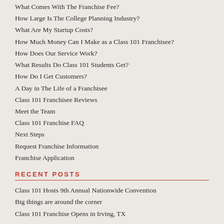What Comes With The Franchise Fee?
How Large Is The College Planning Industry?
What Are My Startup Costs?
How Much Money Can I Make as a Class 101 Franchisee?
How Does Our Service Work?
What Results Do Class 101 Students Get?
How Do I Get Customers?
A Day in The Life of a Franchisee
Class 101 Franchisee Reviews
Meet the Team
Class 101 Franchise FAQ
Next Steps
Request Franchise Information
Franchise Application
RECENT POSTS
Class 101 Hosts 9th Annual Nationwide Convention
Big things are around the corner
Class 101 Franchise Opens in Irving, TX
[Figure (logo): Class 101 sun/sunrise logo icon in red]